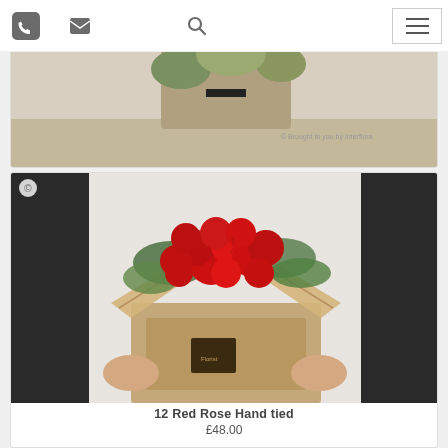Navigation bar with phone, email, search, and menu icons
[Figure (photo): Partial view of Timeless Whites Hand tied flower bouquet held by a florist, cropped at top]
Timeless Whites Hand tied
£48.00
[Figure (photo): 12 Red Rose Hand tied bouquet — a florist in black apron holding a large arrangement of red roses with greenery in a kraft paper box]
12 Red Rose Hand tied
£48.00